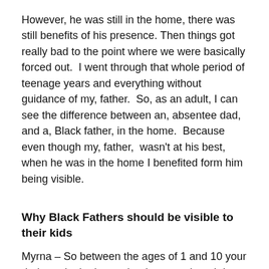However, he was still in the home, there was still benefits of his presence. Then things got really bad to the point where we were basically forced out.  I went through that whole period of teenage years and everything without guidance of my, father.  So, as an adult, I can see the difference between an, absentee dad, and a, Black father, in the home.  Because even though my, father,  wasn't at his best, when he was in the home I benefited form him being visible.
Why Black Fathers should be visible to their kids
Myrna – So between the ages of 1 and 10 your dad was in the home; but he even though he couldn't be a, father, because he was under the influence of crack cocaine, what you are saying is that the fact your, father, was in the